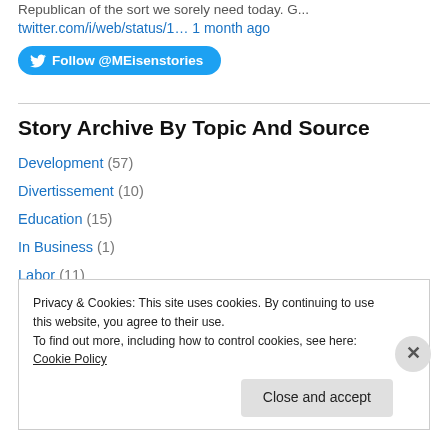Republican of the sort we sorely need today. G...
twitter.com/i/web/status/1… 1 month ago
[Figure (other): Twitter Follow button: Follow @MEisenstories]
Story Archive By Topic And Source
Development (57)
Divertissement (10)
Education (15)
In Business (1)
Labor (11)
Local Food (5)
Privacy & Cookies: This site uses cookies. By continuing to use this website, you agree to their use. To find out more, including how to control cookies, see here: Cookie Policy
Close and accept